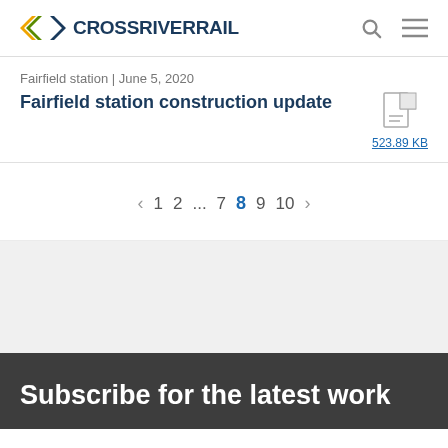CROSSRIVERRAIL
Fairfield station | June 5, 2020
Fairfield station construction update
523.89 KB
< 1 2 ... 7 8 9 10 >
Subscribe for the latest work